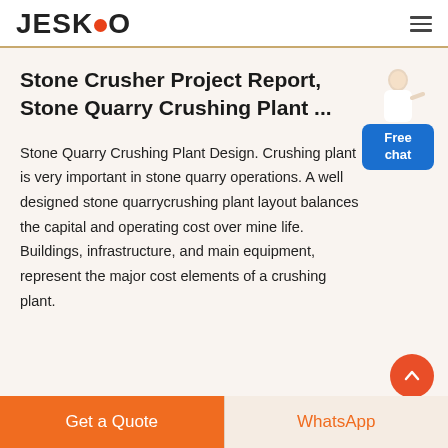JESCO
Stone Crusher Project Report, Stone Quarry Crushing Plant ...
Stone Quarry Crushing Plant Design. Crushing plant is very important in stone quarry operations. A well designed stone quarrycrushing plant layout balances the capital and operating cost over mine life. Buildings, infrastructure, and main equipment, represent the major cost elements of a crushing plant.
Get a Quote | WhatsApp